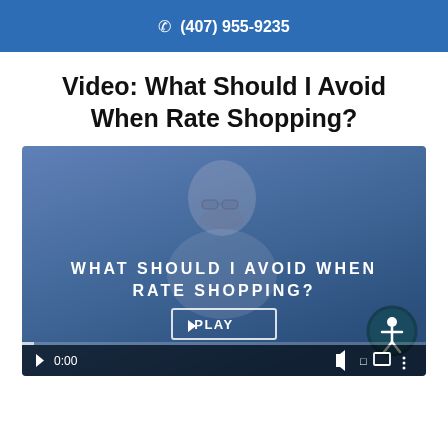(407) 955-9235
Video: What Should I Avoid When Rate Shopping?
[Figure (screenshot): Video thumbnail showing a man with glasses against a blue background. White uppercase text reads 'WHAT SHOULD I AVOID WHEN RATE SHOPPING?' with a PLAY button. Video controls bar visible at the bottom with time 0:00. Accessibility icon in bottom-right corner.]